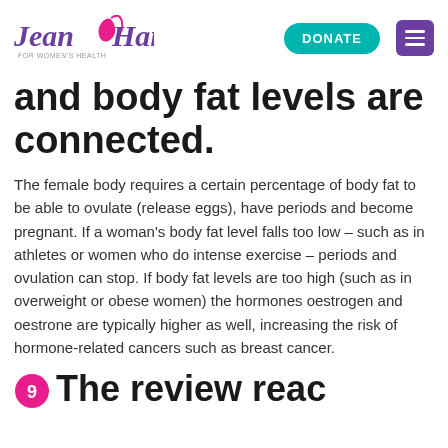Jean Hailes for Women's Health — DONATE [menu]
and body fat levels are connected.
The female body requires a certain percentage of body fat to be able to ovulate (release eggs), have periods and become pregnant. If a woman's body fat level falls too low – such as in athletes or women who do intense exercise – periods and ovulation can stop. If body fat levels are too high (such as in overweight or obese women) the hormones oestrogen and oestrone are typically higher as well, increasing the risk of hormone-related cancers such as breast cancer.
9. The review reads...